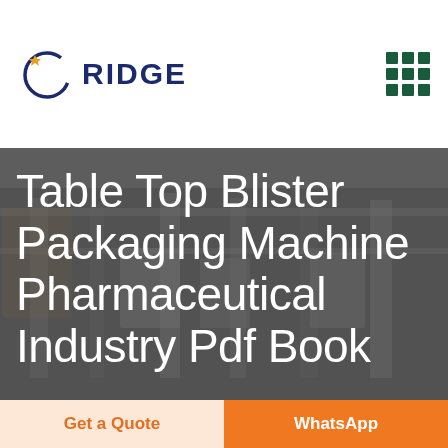[Figure (logo): Ridge company logo with circular arc, star icon, and bold navy RIDGE text]
[Figure (other): 3x3 grid of dark teal/green squares icon in top right corner]
[Figure (photo): Industrial pharmaceutical manufacturing facility with machinery, dark overlay background]
Table Top Blister Packaging Machine Pharmaceutical Industry Pdf Book